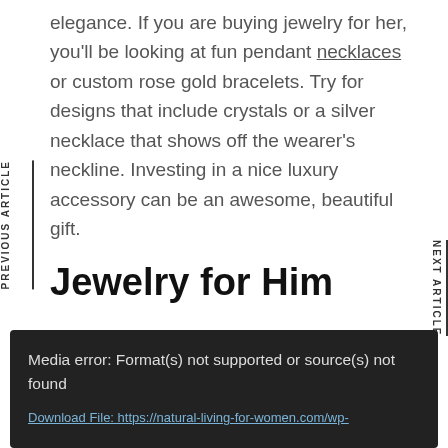elegance. If you are buying jewelry for her, you'll be looking at fun pendant necklaces or custom rose gold bracelets. Try for designs that include crystals or a silver necklace that shows off the wearer's neckline. Investing in a nice luxury accessory can be an awesome, beautiful gift.
Jewelry for Him
[Figure (other): Dark media player error box showing: 'Media error: Format(s) not supported or source(s) not found' with a download file link to https://natural-living-for-women.com/wp-]